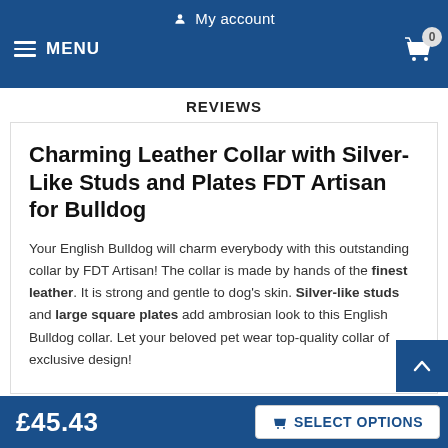My account  MENU  0
REVIEWS
Charming Leather Collar with Silver-Like Studs and Plates FDT Artisan for Bulldog
Your English Bulldog will charm everybody with this outstanding collar by FDT Artisan! The collar is made by hands of the finest leather. It is strong and gentle to dog's skin. Silver-like studs and large square plates add ambrosian look to this English Bulldog collar. Let your beloved pet wear top-quality collar of exclusive design!
£45.43  SELECT OPTIONS